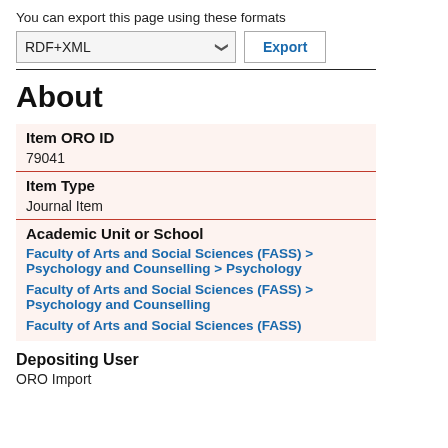You can export this page using these formats
RDF+XML [dropdown] Export
| Item ORO ID |  |
| 79041 |  |
| Item Type |  |
| Journal Item |  |
| Academic Unit or School |  |
| Faculty of Arts and Social Sciences (FASS) > Psychology and Counselling > Psychology |  |
| Faculty of Arts and Social Sciences (FASS) > Psychology and Counselling |  |
| Faculty of Arts and Social Sciences (FASS) |  |
About
Depositing User
ORO Import